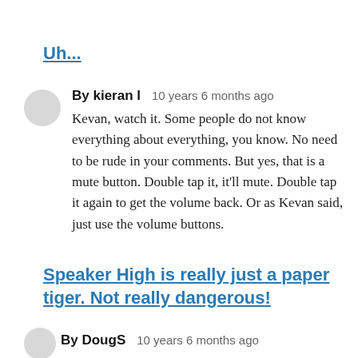Uh...
By kieran l   10 years 6 months ago
Kevan, watch it. Some people do not know everything about everything, you know. No need to be rude in your comments. But yes, that is a mute button. Double tap it, it'll mute. Double tap it again to get the volume back. Or as Kevan said, just use the volume buttons.
Speaker High is really just a paper tiger. Not really dangerous!
By DougS   10 years 6 months ago